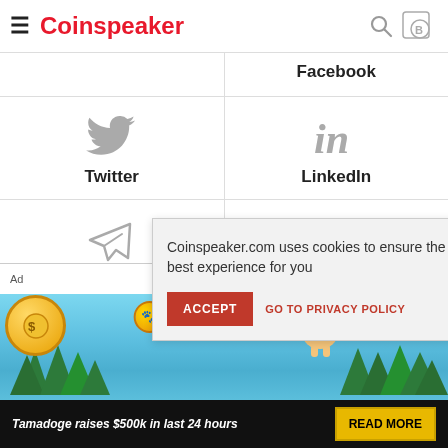Coinspeaker
Facebook
[Figure (illustration): Twitter bird icon]
Twitter
[Figure (illustration): LinkedIn 'in' icon]
LinkedIn
[Figure (illustration): Telegram paper plane icon]
Telegram
Coinspeaker.com uses cookies to ensure the best experience for you
ACCEPT
GO TO PRIVACY POLICY
Ad
[Figure (illustration): Tamadoge advertisement banner with logo, dog character, and trees]
Tamadoge raises $500k in last 24 hours
READ MORE